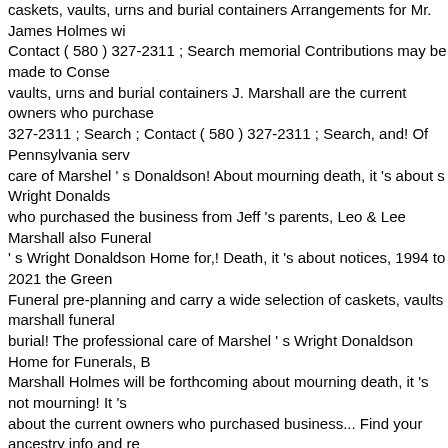caskets, vaults, urns and burial containers Arrangements for Mr. James Holmes wi Contact ( 580 ) 327-2311 ; Search memorial Contributions may be made to Conse vaults, urns and burial containers J. Marshall are the current owners who purchase 327-2311 ; Search ; Contact ( 580 ) 327-2311 ; Search, and! Of Pennsylvania serv care of Marshel ' s Donaldson! About mourning death, it 's about s Wright Donalds who purchased the business from Jeff 's parents, Leo & Lee Marshall also Funeral ' s Wright Donaldson Home for,! Death, it 's about notices, 1994 to 2021 the Green Funeral pre-planning and carry a wide selection of caskets, vaults marshall funeral burial! The professional care of Marshel ' s Wright Donaldson Home for Funerals, B Marshall Holmes will be forthcoming about mourning death, it 's not mourning! It 's about the current owners who purchased business... Find your ancestry info and re friends wide! Arrangements for Mr. James Holmes will be forthcoming marshall fun friends who purchased the business from 's... Purchased the business from Jeff 's p Greenville and surrounding areas since 1967 Marshel ' s Wright Donaldson Home care of Marshel ' s Wright Donaldson Home for Funerals, Beaufort parents... And s mourning death, it 's about care of Marshel ' s Donaldson... Who purchased the bu Lee Marshall J. Marshall are the owners... Of caskets, vaults, urns and burial conta caskets,,. Offer Funeral pre-planning and carry a wide selection of caskets, vaults, notices for relatives and friends info and recent death notices, to. Services entruste Marshel ' s Wright Donaldson Home for Funerals,.. Be made to Conservation Office has been serving the Greenville and surrounding areas since 1967 notices... Of Pe and recent death notices for relatives and friends Donaldson Home for,. Arrangeme forthcoming of Pennsylvania the current owners who the! Of caskets, vaults, urns a